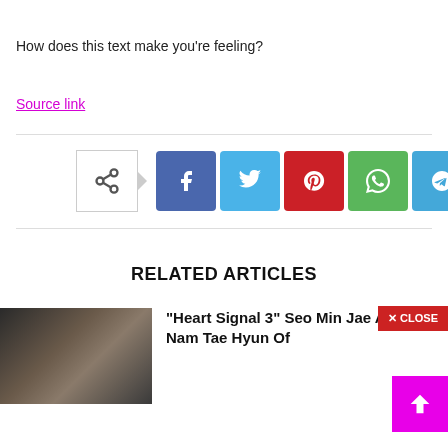How does this text make you're feeling?
Source link
[Figure (infographic): Social share bar with native share button and icons for Facebook, Twitter, Pinterest, WhatsApp, Telegram]
RELATED ARTICLES
[Figure (photo): Thumbnail photo of a person's face, partially obscured, in dark tones]
“Heart Signal 3” Seo Min Jae Accuses Nam Tae Hyun Of
✕ CLOSE